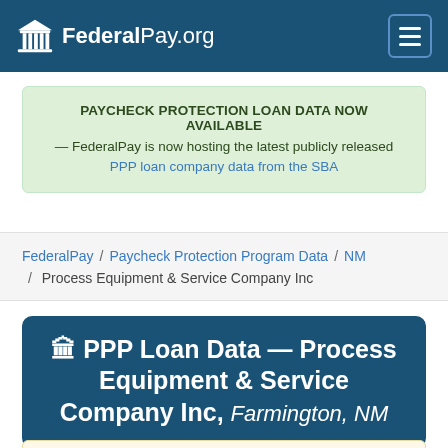FederalPay.org
PAYCHECK PROTECTION LOAN DATA NOW AVAILABLE — FederalPay is now hosting the latest publicly released PPP loan company data from the SBA
FederalPay / Paycheck Protection Program Data / NM / Process Equipment & Service Company Inc
PPP Loan Data — Process Equipment & Service Company Inc, Farmington, NM
ALERT: There are 2 PPP loans for a total of $7.2M in